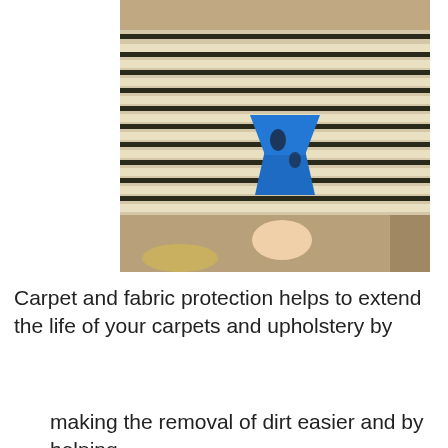[Figure (photo): A close-up photo showing striped carpet/blinds (cream and dark stripes) with a blue scraper or spatula tool being held by a hand, with tan/beige flooring visible at the bottom.]
Carpet and fabric protection helps to extend the life of your carpets and upholstery by
making the removal of dirt easier and by helping